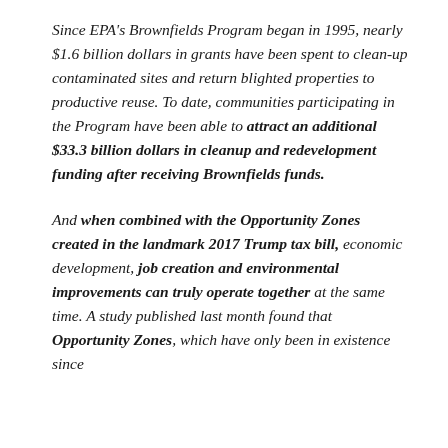Since EPA's Brownfields Program began in 1995, nearly $1.6 billion dollars in grants have been spent to clean-up contaminated sites and return blighted properties to productive reuse. To date, communities participating in the Program have been able to attract an additional $33.3 billion dollars in cleanup and redevelopment funding after receiving Brownfields funds.
And when combined with the Opportunity Zones created in the landmark 2017 Trump tax bill, economic development, job creation and environmental improvements can truly operate together at the same time. A study published last month found that Opportunity Zones, which have only been in existence since